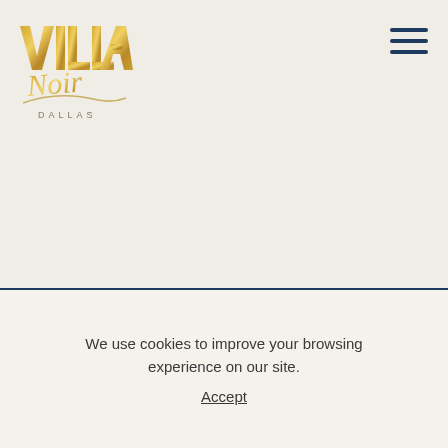[Figure (logo): Villa Noir Dallas logo with gold stylized text 'VILLA' in block letters, script/handwritten 'Noir' in gold, and 'DALLAS' in small caps below]
[Figure (other): Hamburger menu icon — three horizontal dark navy blue lines stacked vertically]
We use cookies to improve your browsing experience on our site.
Accept